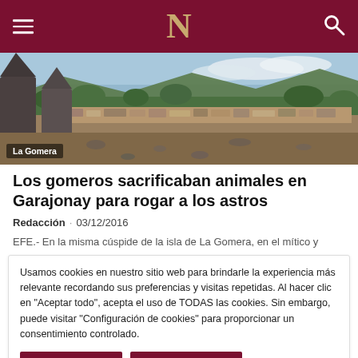N
[Figure (photo): Outdoor landscape photo showing stone walls and rocky terrain on La Gomera island, with mountains and cloudy sky in the background. Label 'La Gomera' visible at bottom left.]
Los gomeros sacrificaban animales en Garajonay para rogar a los astros
Redacción · 03/12/2016
EFE.- En la misma cúspide de la isla de La Gomera, en el mítico y
Usamos cookies en nuestro sitio web para brindarle la experiencia más relevante recordando sus preferencias y visitas repetidas. Al hacer clic en "Aceptar todo", acepta el uso de TODAS las cookies. Sin embargo, puede visitar "Configuración de cookies" para proporcionar un consentimiento controlado.